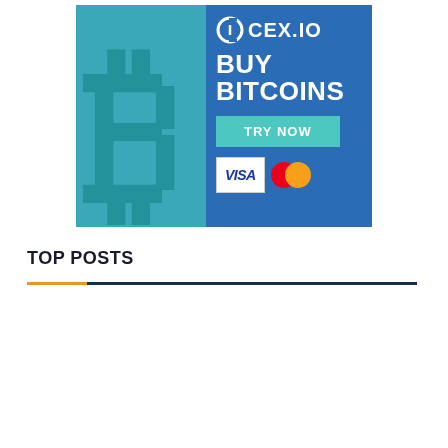[Figure (illustration): CEX.IO advertisement banner with blue background, large teal Bitcoin logo on the left, text 'BUY BITCOINS' in white, a teal 'TRY NOW' button, and VISA and Mastercard payment icons at bottom right.]
TOP POSTS